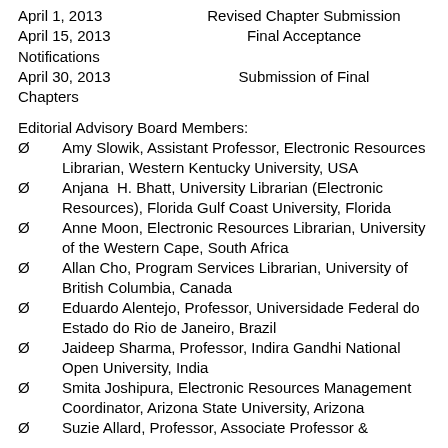April 1, 2013    Revised Chapter Submission
April 15, 2013    Final Acceptance Notifications
April 30, 2013    Submission of Final Chapters
Editorial Advisory Board Members:
Amy Slowik, Assistant Professor, Electronic Resources Librarian, Western Kentucky University, USA
Anjana H. Bhatt, University Librarian (Electronic Resources), Florida Gulf Coast University, Florida
Anne Moon, Electronic Resources Librarian, University of the Western Cape, South Africa
Allan Cho, Program Services Librarian, University of British Columbia, Canada
Eduardo Alentejo, Professor, Universidade Federal do Estado do Rio de Janeiro, Brazil
Jaideep Sharma, Professor, Indira Gandhi National Open University, India
Smita Joshipura, Electronic Resources Management Coordinator, Arizona State University, Arizona
Suzie Allard, Professor, Associate Professor &